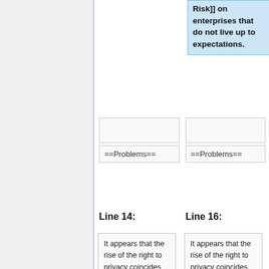Risk]] on enterprises that do not live up to expectations.
==Problems==
==Problems==
Line 14:
Line 16:
It appears that the rise of the right to privacy coincides with the collapse of ethics. Perhaps this is just a coincidence, a result of the dis-inter-mediation effect of the internet, but the possibility of a
It appears that the rise of the right to privacy coincides with the collapse of ethics. Perhaps this is just a coincidence, a result of the dis-inter-mediation effect of the internet, but the possibility of a